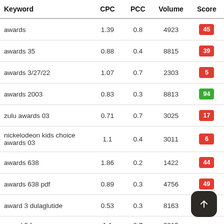| Keyword | CPC | PCC | Volume | Score |
| --- | --- | --- | --- | --- |
| awards | 1.39 | 0.8 | 4923 | 45 |
| awards 35 | 0.88 | 0.4 | 8815 | 39 |
| awards 3/27/22 | 1.07 | 0.7 | 2303 | 5 |
| awards 2003 | 0.83 | 0.3 | 8813 | 94 |
| zulu awards 03 | 0.71 | 0.7 | 3025 | 17 |
| nickelodeon kids choice awards 03 | 1.1 | 0.4 | 3011 | 6 |
| awards 638 | 1.86 | 0.2 | 1422 | 44 |
| awards 638 pdf | 0.89 | 0.3 | 4756 | 49 |
| award 3 dulaglutide | 0.53 | 0.3 | 8163 | 84 |
| award 3 forma | 1.1 | 0.7 | 2015 |  |
| award 3 trial | 0.88 | 0.1 | 1848 |  |